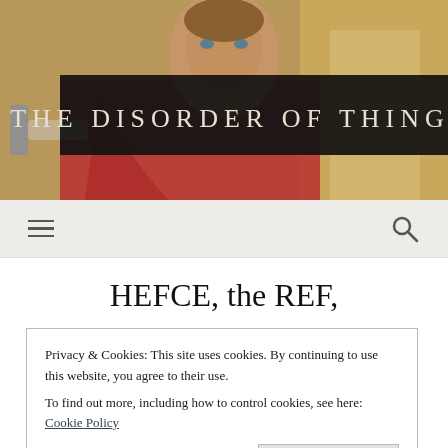[Figure (photo): Classical painting of a Roman or historical figure in red robes holding a weapon, used as website header background image]
THE DISORDER OF THINGS
[Figure (other): Navigation bar with hamburger menu icon on left and search magnifying glass icon on right]
HEFCE, the REF,
Privacy & Cookies: This site uses cookies. By continuing to use this website, you agree to their use.
To find out more, including how to control cookies, see here: Cookie Policy
Close and accept